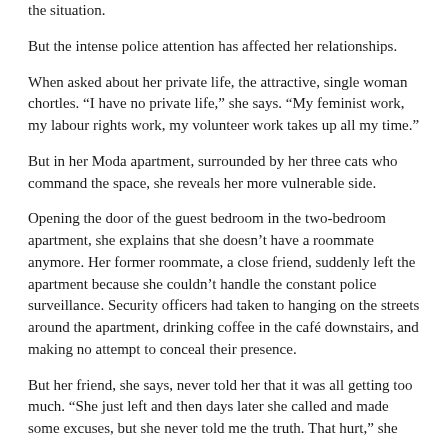the situation.
But the intense police attention has affected her relationships.
When asked about her private life, the attractive, single woman chortles. “I have no private life,” she says. “My feminist work, my labour rights work, my volunteer work takes up all my time.”
But in her Moda apartment, surrounded by her three cats who command the space, she reveals her more vulnerable side.
Opening the door of the guest bedroom in the two-bedroom apartment, she explains that she doesn’t have a roommate anymore. Her former roommate, a close friend, suddenly left the apartment because she couldn’t handle the constant police surveillance. Security officers had taken to hanging on the streets around the apartment, drinking coffee in the café downstairs, and making no attempt to conceal their presence.
But her friend, she says, never told her that it was all getting too much. “She just left and then days later she called and made some excuses, but she never told me the truth. That hurt,” she says.
Entering the guestroom, Celep sits on the empty single bed, pets one of her cats, and continues, “The night she left, I returned home, walked into this empty room and cried,” she confesses. “It really felt like the government’s hand had entered this place. It had stretched